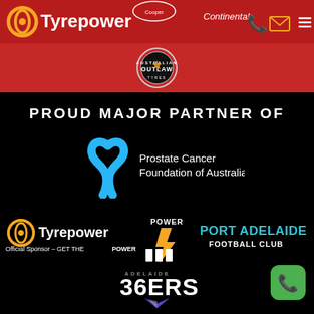[Figure (logo): Tyrepower logo with red background header bar, Cooper and Continental brand logos, phone icon, mail icon, hamburger menu]
[Figure (logo): Red band with circular Outlaw Australia badge/logo in center]
PROUD MAJOR PARTNER OF
[Figure (logo): Prostate Cancer Foundation of Australia logo - blue ribbon/figure icon with white text]
[Figure (logo): Tyrepower logo with circular yellow-orange gradient icon, white Tyrepower text, subtext: Official Sponsor - GET THE POWER, Port Adelaide Power football club logo (POWER fist logo), PORT ADELAIDE FOOTBALL CLUB text in teal]
[Figure (logo): Adelaide 36ERS basketball club logo]
[Figure (logo): Green phone button icon in bottom right corner]